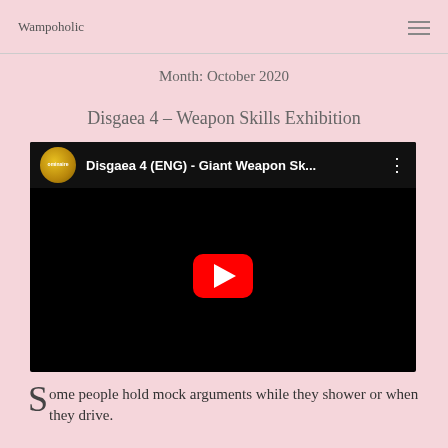Wampoholic
Month: October 2020
Disgaea 4 – Weapon Skills Exhibition
[Figure (screenshot): Embedded YouTube video player showing 'Disgaea 4 (ENG) - Giant Weapon Sk...' with channel icon, video title bar, three-dot menu, and YouTube play button on black background]
Some people hold mock arguments while they shower or when they drive.